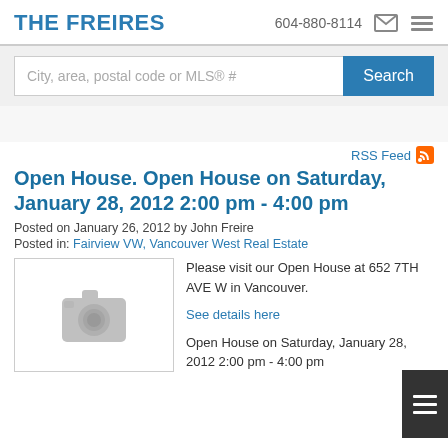THE FREIRES  604-880-8114
City, area, postal code or MLS® #  Search
RSS Feed
Open House. Open House on Saturday, January 28, 2012 2:00 pm - 4:00 pm
Posted on January 26, 2012 by John Freire
Posted in: Fairview VW, Vancouver West Real Estate
[Figure (photo): Placeholder camera icon image]
Please visit our Open House at 652 7TH AVE W in Vancouver.
See details here
Open House on Saturday, January 28, 2012 2:00 pm - 4:00 pm